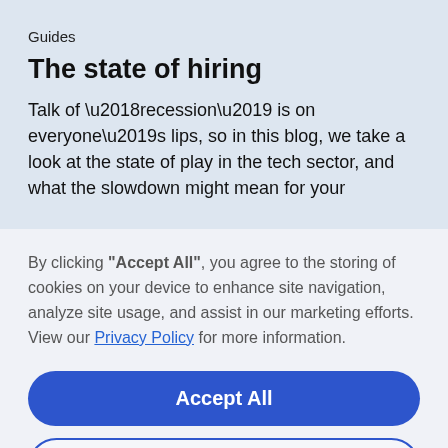Guides
The state of hiring
Talk of ‘recession’ is on everyone’s lips, so in this blog, we take a look at the state of play in the tech sector, and what the slowdown might mean for your
By clicking “Accept All”, you agree to the storing of cookies on your device to enhance site navigation, analyze site usage, and assist in our marketing efforts. View our Privacy Policy for more information.
Accept All
Deny
Preferences